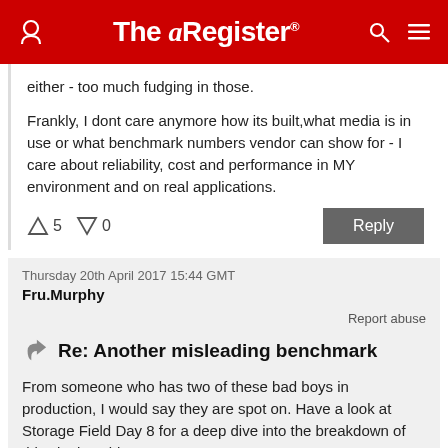The Register
either - too much fudging in those.

Frankly, I dont care anymore how its built,what media is in use or what benchmark numbers vendor can show for - I care about reliability, cost and performance in MY environment and on real applications.
↑5  ↓0
Reply
Thursday 20th April 2017 15:44 GMT
Fru.Murphy
Report abuse
Re: Another misleading benchmark
From someone who has two of these bad boys in production, I would say they are spot on. Have a look at Storage Field Day 8 for a deep dive into the breakdown of this single cabinet storage array, I